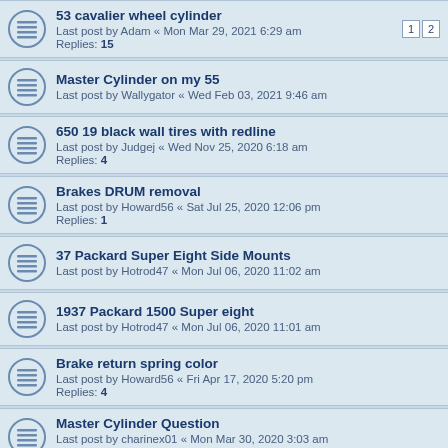53 cavalier wheel cylinder
Last post by Adam « Mon Mar 29, 2021 6:29 am
Replies: 15
Master Cylinder on my 55
Last post by Wallygator « Wed Feb 03, 2021 9:46 am
650 19 black wall tires with redline
Last post by Judgej « Wed Nov 25, 2020 6:18 am
Replies: 4
Brakes DRUM removal
Last post by Howard56 « Sat Jul 25, 2020 12:06 pm
Replies: 1
37 Packard Super Eight Side Mounts
Last post by Hotrod47 « Mon Jul 06, 2020 11:02 am
1937 Packard 1500 Super eight
Last post by Hotrod47 « Mon Jul 06, 2020 11:01 am
Brake return spring color
Last post by Howard56 « Fri Apr 17, 2020 5:20 pm
Replies: 4
Master Cylinder Question
Last post by charinex01 « Mon Mar 30, 2020 3:03 am
Replies: 2
Brakes Lines replacement
Last post by Dquale « Sun Feb 02, 2020 11:49 pm
Replies: 2
Brake Master Cylinder Question
Last post by ...